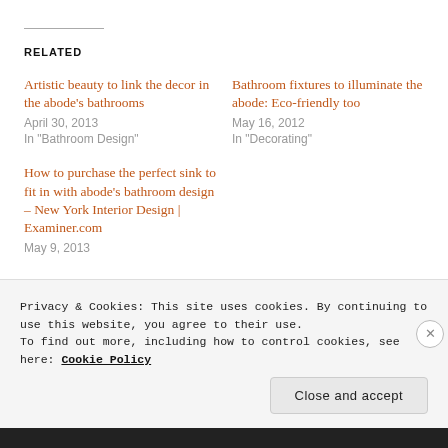RELATED
Artistic beauty to link the decor in the abode's bathrooms
April 30, 2013
In "Bathroom Design"
Bathroom fixtures to illuminate the abode: Eco-friendly too
May 16, 2012
In "Decorating"
How to purchase the perfect sink to fit in with abode's bathroom design – New York Interior Design | Examiner.com
May 9, 2013
Privacy & Cookies: This site uses cookies. By continuing to use this website, you agree to their use.
To find out more, including how to control cookies, see here: Cookie Policy
Close and accept